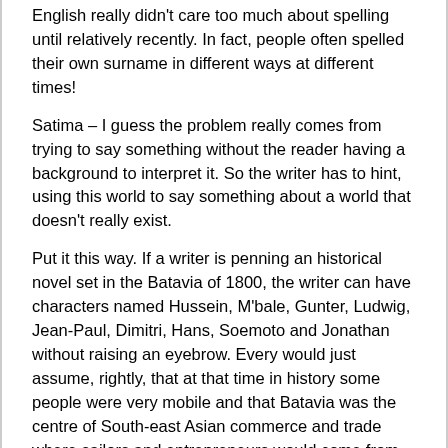English really didn't care too much about spelling until relatively recently. In fact, people often spelled their own surname in different ways at different times!
Satima – I guess the problem really comes from trying to say something without the reader having a background to interpret it. So the writer has to hint, using this world to say something about a world that doesn't really exist.
Put it this way. If a writer is penning an historical novel set in the Batavia of 1800, the writer can have characters named Hussein, M'bale, Gunter, Ludwig, Jean-Paul, Dimitri, Hans, Soemoto and Jonathan without raising an eyebrow. Every would just assume, rightly, that at that time in history some people were very mobile and that Batavia was the centre of South-east Asian commerce and trade where sailors and entrepreneurs would come from all over the world.
If I want to convey the same feeling of cosmopolitan commerce in a fantasy world that is patently not Earth, can I use the same names without arousing the ire of readers? Probably not, unless I also mention Slavic, African, Arabic-type etc etc cultures as existing – a waste of words if they don't in anyway impinge on the story. If my land is X and I